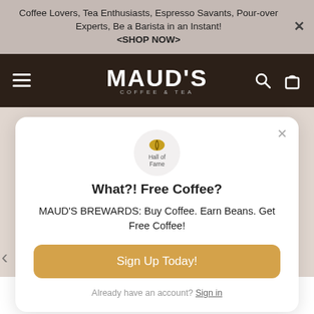Coffee Lovers, Tea Enthusiasts, Espresso Savants, Pour-over Experts, Be a Barista in an Instant! <SHOP NOW>
[Figure (logo): MAUD'S COFFEE & TEA logo with hamburger menu, search and bag icons on dark brown navbar]
[Figure (infographic): Loyalty program popup modal. Hall of Fame coffee bean badge icon. Title: What?! Free Coffee? Text: MAUD'S BREWARDS: Buy Coffee. Earn Beans. Get Free Coffee! Sign Up Today button. Already have an account? Sign in link.]
What?! Free Coffee?
MAUD'S BREWARDS: Buy Coffee. Earn Beans. Get Free Coffee!
Already have an account? Sign in